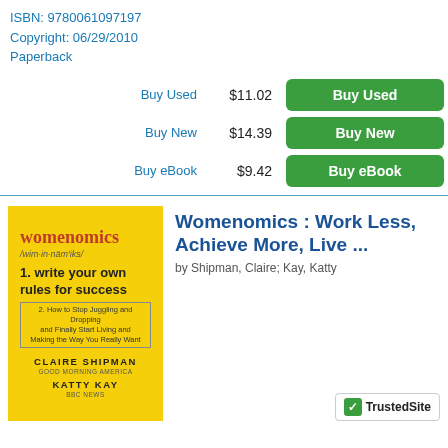ISBN: 9780061097197
Copyright: 06/29/2010
Paperback
Buy Used  $11.02  [Buy Used button]
Buy New  $14.39  [Buy New button]
Buy eBook  $9.42  [Buy eBook button]
[Figure (photo): Book cover of Womenomics on yellow background with red title text, authors Claire Shipman and Katty Kay]
Womenomics : Work Less, Achieve More, Live ...
by Shipman, Claire; Kay, Katty
[Figure (logo): TrustedSite badge with green checkmark]